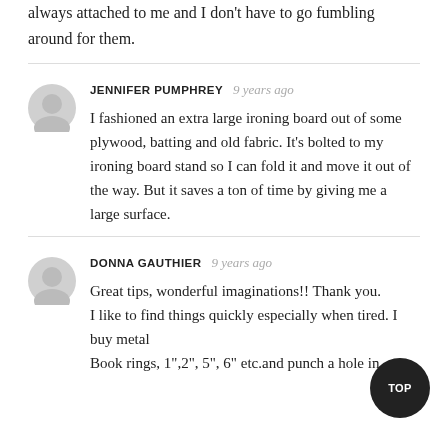always attached to me and I don't have to go fumbling around for them.
JENNIFER PUMPHREY  9 years ago
I fashioned an extra large ironing board out of some plywood, batting and old fabric. It's bolted to my ironing board stand so I can fold it and move it out of the way. But it saves a ton of time by giving me a large surface.
DONNA GAUTHIER  9 years ago
Great tips, wonderful imaginations!! Thank you.
I like to find things quickly especially when tired. I buy metal
Book rings, 1",2", 5", 6" etc.and punch a hole in